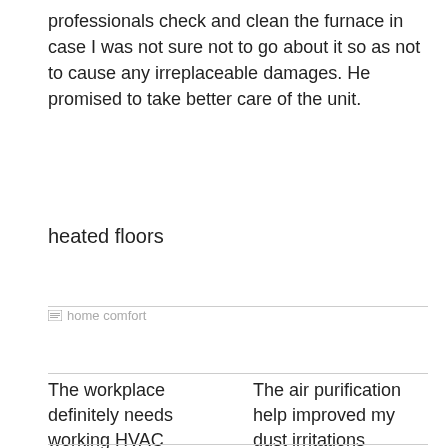professionals check and clean the furnace in case I was not sure not to go about it so as not to cause any irreplaceable damages. He promised to take better care of the unit.
heated floors
home comfort
The workplace definitely needs working HVAC
The air purification help improved my dust irritations